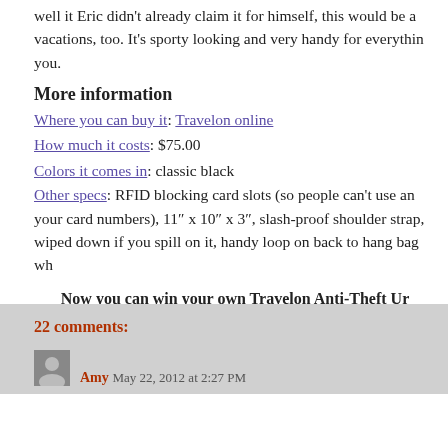well it Eric didn't already claim it for himself, this would be a vacations, too. It's sporty looking and very handy for everything you.
More information
Where you can buy it: Travelon online
How much it costs: $75.00
Colors it comes in: classic black
Other specs: RFID blocking card slots (so people can't use an your card numbers), 11″ x 10″ x 3″, slash-proof shoulder strap, wiped down if you spill on it, handy loop on back to hang bag wh
Now you can win your own Travelon Anti-Theft Ur
a Rafflecopter giveaway
22 comments:
Amy  May 22, 2012 at 2:27 PM